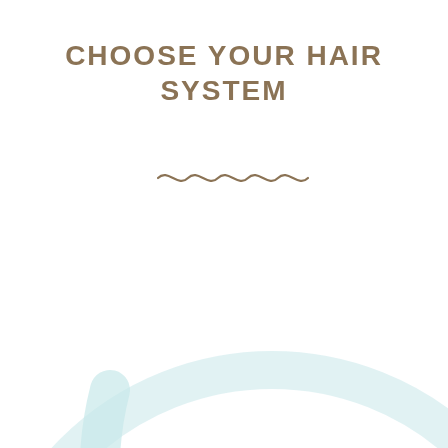CHOOSE YOUR HAIR SYSTEM
[Figure (illustration): Decorative wavy line divider in brownish-tan color, and a large light blue/mint crescent or circle shape in the lower portion of the page]